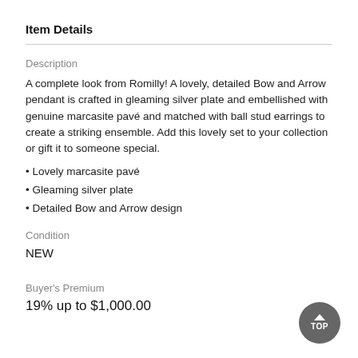Item Details
Description
A complete look from Romilly! A lovely, detailed Bow and Arrow pendant is crafted in gleaming silver plate and embellished with genuine marcasite pavé and matched with ball stud earrings to create a striking ensemble. Add this lovely set to your collection or gift it to someone special.
Lovely marcasite pavé
Gleaming silver plate
Detailed Bow and Arrow design
Condition
NEW
Buyer's Premium
19% up to $1,000.00